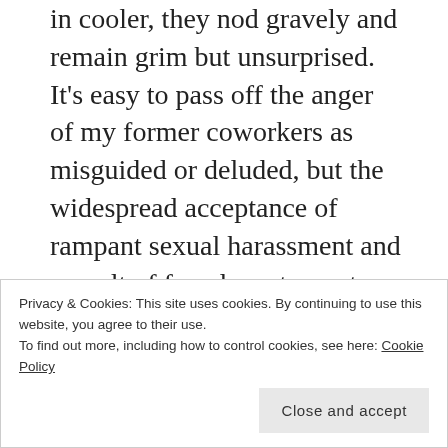I tell my new employers the horror stories of the walk-in cooler, they nod gravely and remain grim but unsurprised. It's easy to pass off the anger of my former coworkers as misguided or deluded, but the widespread acceptance of rampant sexual harassment and assault of female restaurant workers is egregiously problematic and inexcusable. It is this acceptance, this unspoken green-light, this established and unquestioned kitchen culture that is most disturbing to me. This is why I will keep speaking. This is why I will not be silent. This is a conversation that we need to have.
Privacy & Cookies: This site uses cookies. By continuing to use this website, you agree to their use. To find out more, including how to control cookies, see here: Cookie Policy